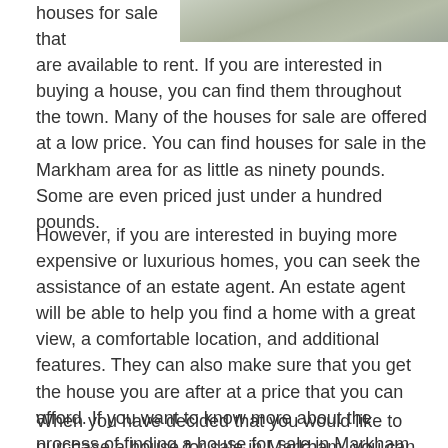[Figure (photo): Partial image of a road or driveway surface, shown at the top right of the page.]
houses for sale that are available to rent. If you are interested in buying a house, you can find them throughout the town. Many of the houses for sale are offered at a low price. You can find houses for sale in the Markham area for as little as ninety pounds. Some are even priced just under a hundred pounds.
However, if you are interested in buying more expensive or luxurious homes, you can seek the assistance of an estate agent. An estate agent will be able to help you find a home with a great view, a comfortable location, and additional features. They can also make sure that you get the house you are after at a price that you can afford. If you want to know more about the process of finding a house for sale in Markham, contact an estate agent today.
When you have decided that you would like to purchase a house for sale in Markham, you can begin the search for one.